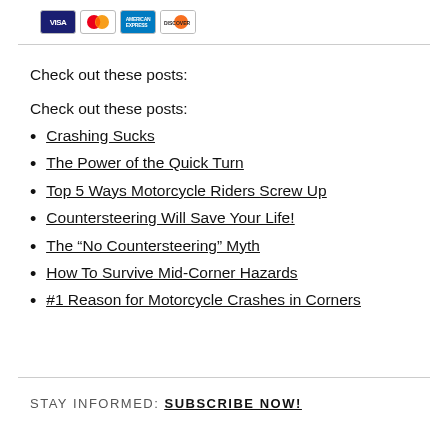[Figure (other): Credit card logos: Visa, Mastercard, American Express, Discover]
Check out these posts:
Check out these posts:
Crashing Sucks
The Power of the Quick Turn
Top 5 Ways Motorcycle Riders Screw Up
Countersteering Will Save Your Life!
The “No Countersteering” Myth
How To Survive Mid-Corner Hazards
#1 Reason for Motorcycle Crashes in Corners
STAY INFORMED: SUBSCRIBE NOW!